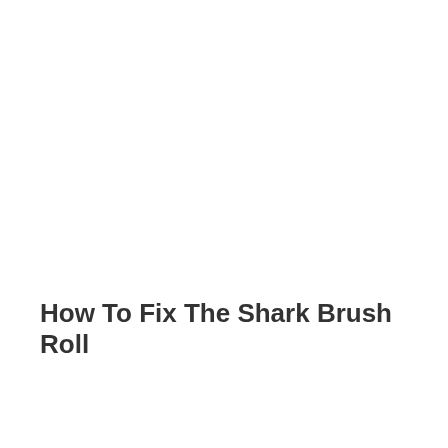How To Fix The Shark Brush Roll